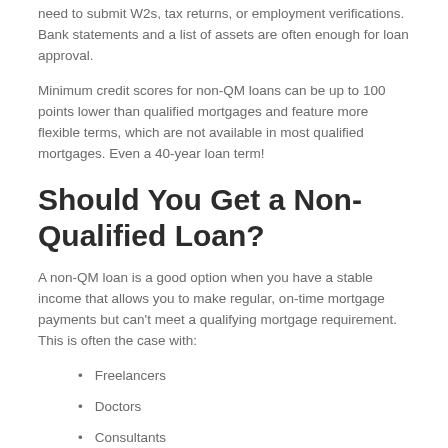need to submit W2s, tax returns, or employment verifications. Bank statements and a list of assets are often enough for loan approval.
Minimum credit scores for non-QM loans can be up to 100 points lower than qualified mortgages and feature more flexible terms, which are not available in most qualified mortgages. Even a 40-year loan term!
Should You Get a Non-Qualified Loan?
A non-QM loan is a good option when you have a stable income that allows you to make regular, on-time mortgage payments but can't meet a qualifying mortgage requirement. This is often the case with:
Freelancers
Doctors
Consultants
Lawyers